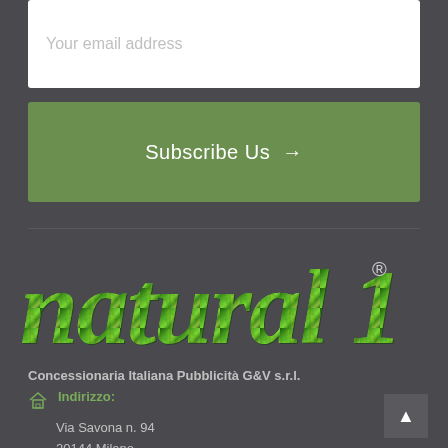Your email address
Subscribe Us →
[Figure (logo): natural 1 brand logo with green leaf-textured lettering and registered trademark symbol]
Concessionaria Italiana Pubblicità G&V s.r.l.
Indirizzo:
Via Savona n. 94
20144 Milano